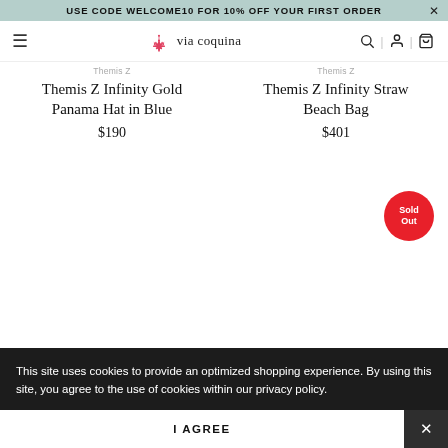USE CODE WELCOME10 FOR 10% OFF YOUR FIRST ORDER
[Figure (logo): Via Coquina logo with red coral icon and text 'via coquina']
Themis Z
Themis Z
Themis Z Infinity Gold Panama Hat in Blue
Themis Z Infinity Straw Beach Bag
$190
$401
Sold Out
This site uses cookies to provide an optimized shopping experience. By using this site, you agree to the use of cookies within our privacy policy.
I AGREE